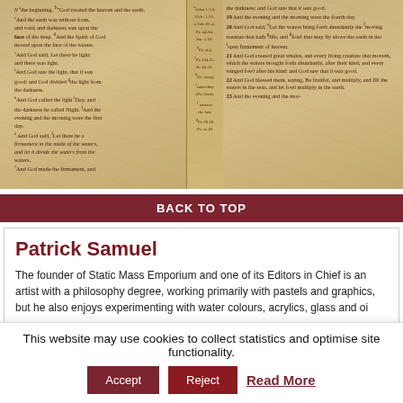[Figure (photo): Close-up photograph of an open Bible showing Genesis text in two columns with sepia/golden tones, pages appear slightly crumpled or aged]
BACK TO TOP
Patrick Samuel
The founder of Static Mass Emporium and one of its Editors in Chief is an artist with a philosophy degree, working primarily with pastels and graphics, but he also enjoys experimenting with water colours, acrylics, glass and oi…
Being on the autistic spectrum with Asperger's Syndrome, he is stimulated by contrasting colours, intricate details, multiple textures, and varying shades. His work extends to sound and video, and when not drawing or painting, he ca…
This website may use cookies to collect statistics and optimise site functionality.
Accept
Reject
Read More